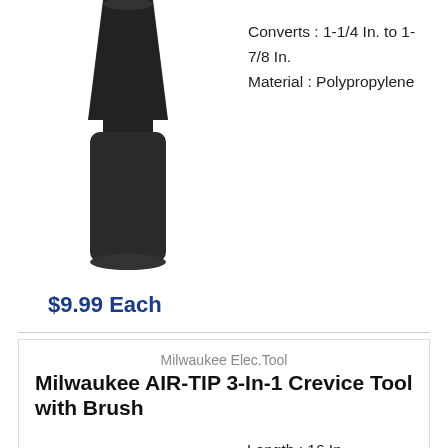[Figure (photo): Black plastic vacuum hose adapter shaped like a tapered cylinder/bottle, viewed from front.]
Converts : 1-1/4 In. to 1-7/8 In.
Material : Polypropylene
$9.99 Each
Milwaukee Elec.Tool
Milwaukee AIR-TIP 3-In-1 Crevice Tool with Brush
Length : 16 In.
Material : Plastic
For Use With : 1-1/4 In., 1-7/8 In., 2-1/2 In. Hose
[Figure (photo): Red and black Milwaukee AIR-TIP 3-In-1 crevice tool with brush attachment, viewed from the side.]